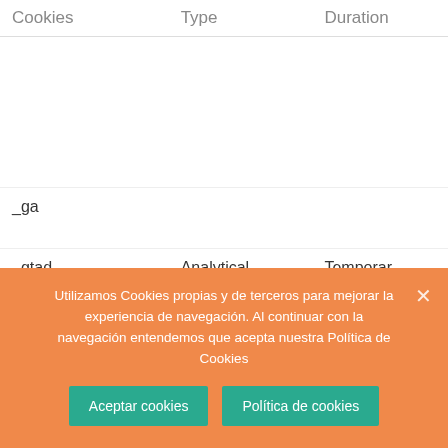| Cookies | Type | Duration |
| --- | --- | --- |
|  |  |  |
| _ga |  |  |
| _gtad | Analytical | Temporary |
Utilizamos Cookies propias y de terceros para mejorar la experiencia de navegación. Al continuar con la navegación entendemos que acepta nuestra Política de Cookies
Aceptar cookies
Política de cookies